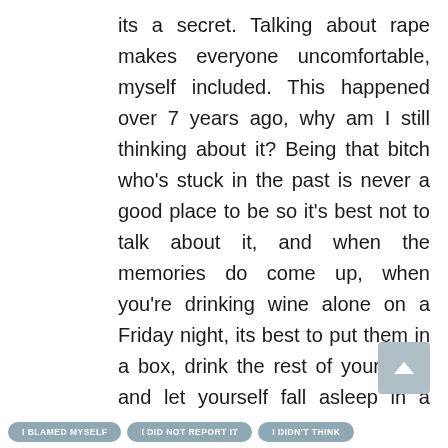its a secret. Talking about rape makes everyone uncomfortable, myself included. This happened over 7 years ago, why am I still thinking about it? Being that bitch who's stuck in the past is never a good place to be so it's best not to talk about it, and when the memories do come up, when you're drinking wine alone on a Friday night, its best to put them in a box, drink the rest of your wine and let yourself fall asleep in a wine-induced coma. Tomorrow, it will be like it never happened …
I BLAMED MYSELF
I DID NOT REPORT IT
I DIDN'T THINK